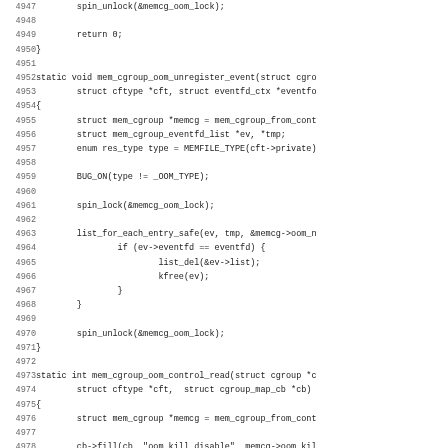[Figure (other): Source code listing in C showing lines 4947-4979 with line numbers on the left, monospace font, depicting mem_cgroup_oom_unregister_event and mem_cgroup_oom_control_read functions.]